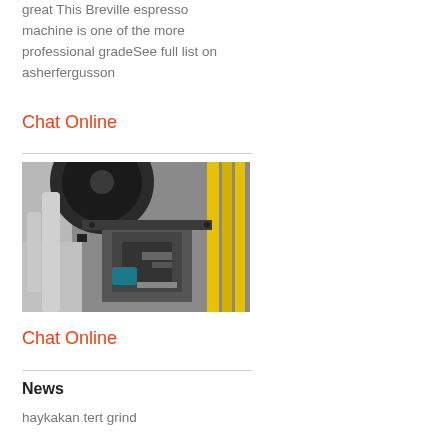great This Breville espresso machine is one of the more professional gradeSee full list on asherfergusson
Chat Online
[Figure (photo): Industrial machinery interior showing a large gear/wheel mechanism with yellow cables and metal components]
Chat Online
News
haykakan tert grind